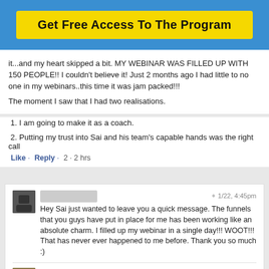Get Free Access To The Program
it...and my heart skipped a bit. MY WEBINAR WAS FILLED UP WITH 150 PEOPLE!! I couldn't believe it! Just 2 months ago I had little to no one in my webinars..this time it was jam packed!!!
The moment I saw that I had two realisations.
1. I am going to make it as a coach.
2. Putting my trust into Sai and his team's capable hands was the right call
Like · Reply · 2 · 2 hrs
Hey Sai just wanted to leave you a quick message. The funnels that you guys have put in place for me has been working like an absolute charm. I filled up my webinar in a single day!!! WOOT!!! That has never ever happened to me before. Thank you so much :)
Sai Blackbyrn: hahahah you deserve it… you are an absolute champion!